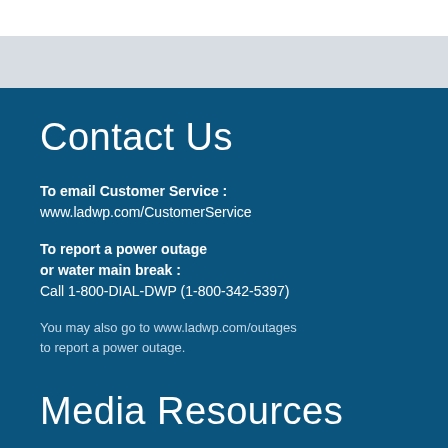Contact Us
To email Customer Service : www.ladwp.com/CustomerService
To report a power outage or water main break : Call 1-800-DIAL-DWP (1-800-342-5397)
You may also go to www.ladwp.com/outages to report a power outage.
Media Resources